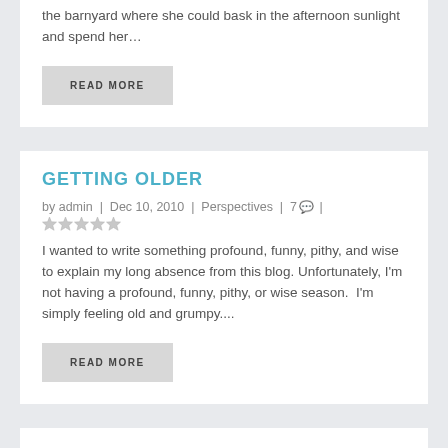the barnyard where she could bask in the afternoon sunlight and spend her…
READ MORE
GETTING OLDER
by admin | Dec 10, 2010 | Perspectives | 7 💬 | ★★★★★
I wanted to write something profound, funny, pithy, and wise to explain my long absence from this blog. Unfortunately, I'm not having a profound, funny, pithy, or wise season.  I'm simply feeling old and grumpy....
READ MORE
THE MOWING CREW